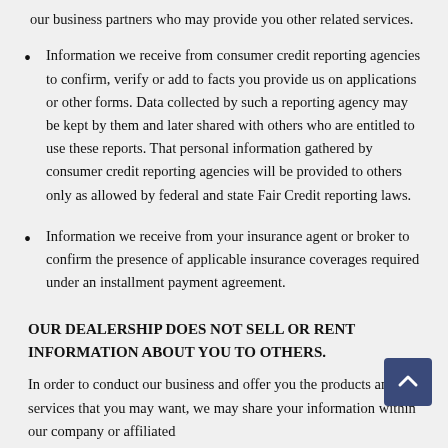our business partners who may provide you other related services.
Information we receive from consumer credit reporting agencies to confirm, verify or add to facts you provide us on applications or other forms. Data collected by such a reporting agency may be kept by them and later shared with others who are entitled to use these reports. That personal information gathered by consumer credit reporting agencies will be provided to others only as allowed by federal and state Fair Credit reporting laws.
Information we receive from your insurance agent or broker to confirm the presence of applicable insurance coverages required under an installment payment agreement.
OUR DEALERSHIP DOES NOT SELL OR RENT INFORMATION ABOUT YOU TO OTHERS.
In order to conduct our business and offer you the products and/or services that you may want, we may share your information within our company or affiliated